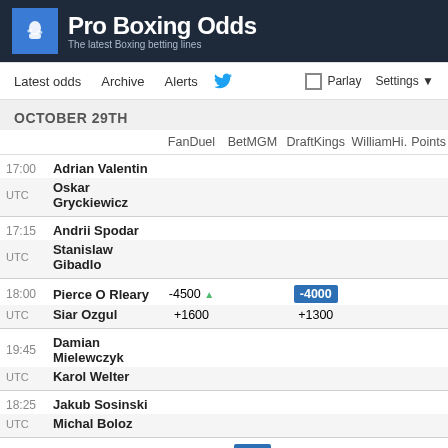Pro Boxing Odds - The latest Boxing betting lines
OCTOBER 29TH
|  |  | FanDuel | BetMGM | DraftKings | WilliamHi. | PointsB |
| --- | --- | --- | --- | --- | --- | --- |
| 17:00 | Adrian Valentin |  |  |  |  |  |
| UTC | Oskar Gryckiewicz |  |  |  |  |  |
| 17:15 | Andrii Spodar |  |  |  |  |  |
| UTC | Stanislaw Gibadlo |  |  |  |  |  |
| 18:00 | Pierce O Rleary | -4500 ▲ |  | -4000 |  |  |
| UTC | Siar Ozgul | +1600 |  | +1300 |  |  |
| 19:45 | Damian Mielewczyk |  |  |  |  |  |
| UTC | Karol Welter |  |  |  |  |  |
| 18:25 | Jakub Sosinski |  |  |  |  |  |
| UTC | Michal Boloz |  |  |  |  |  |
| 21:10 | Lukasz Stanioch | -152 | -125 |  |  |  |